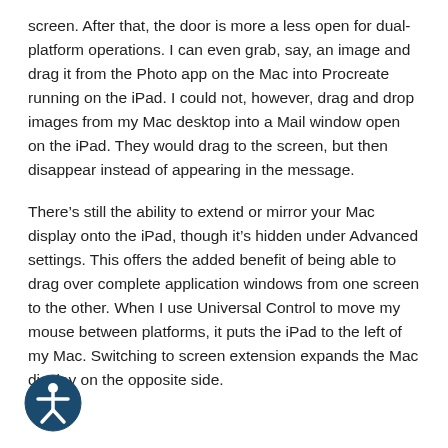screen. After that, the door is more a less open for dual-platform operations. I can even grab, say, an image and drag it from the Photo app on the Mac into Procreate running on the iPad. I could not, however, drag and drop images from my Mac desktop into a Mail window open on the iPad. They would drag to the screen, but then disappear instead of appearing in the message.
There’s still the ability to extend or mirror your Mac display onto the iPad, though it’s hidden under Advanced settings. This offers the added benefit of being able to drag over complete application windows from one screen to the other. When I use Universal Control to move my mouse between platforms, it puts the iPad to the left of my Mac. Switching to screen extension expands the Mac display on the opposite side.
[Figure (illustration): Accessibility icon: a circular dark teal/navy button with a white human figure (person with arms outstretched) inside, representing accessibility features.]